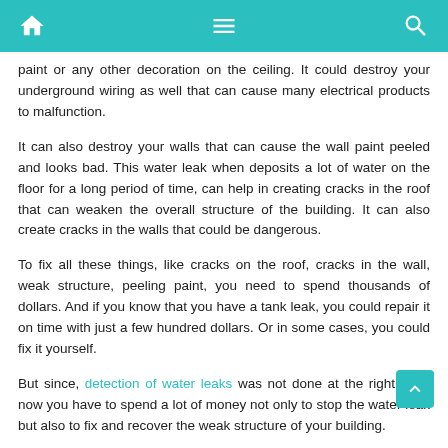[navigation bar with home, menu, and search icons]
paint or any other decoration on the ceiling. It could destroy your underground wiring as well that can cause many electrical products to malfunction.
It can also destroy your walls that can cause the wall paint peeled and looks bad. This water leak when deposits a lot of water on the floor for a long period of time, can help in creating cracks in the roof that can weaken the overall structure of the building. It can also create cracks in the walls that could be dangerous.
To fix all these things, like cracks on the roof, cracks in the wall, weak structure, peeling paint, you need to spend thousands of dollars. And if you know that you have a tank leak, you could repair it on time with just a few hundred dollars. Or in some cases, you could fix it yourself.
But since, detection of water leaks was not done at the right time, now you have to spend a lot of money not only to stop the water leak but also to fix and recover the weak structure of your building.